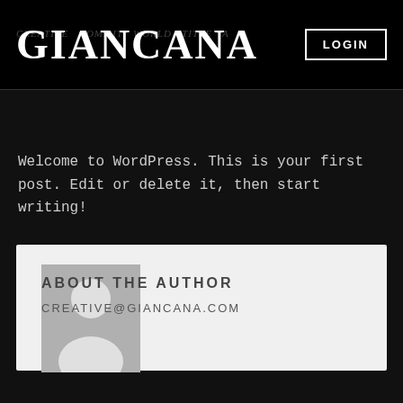GIANCANA
Welcome to WordPress. This is your first post. Edit or delete it, then start writing!
[Figure (illustration): Generic user avatar placeholder image — grey background with white silhouette of a person]
ABOUT THE AUTHOR
CREATIVE@GIANCANA.COM